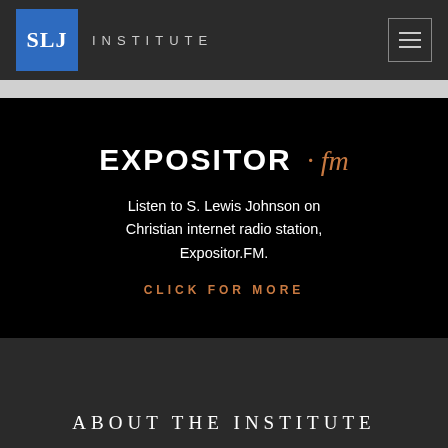SLJ INSTITUTE
[Figure (screenshot): Expositor.fm promotional banner on black background with text 'Listen to S. Lewis Johnson on Christian internet radio station, Expositor.FM.' and 'CLICK FOR MORE' link in orange]
ABOUT THE INSTITUTE